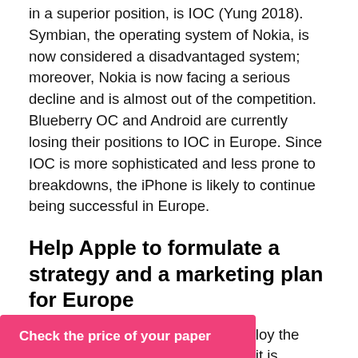in a superior position, is IOC (Yung 2018). Symbian, the operating system of Nokia, is now considered a disadvantaged system; moreover, Nokia is now facing a serious decline and is almost out of the competition. Blueberry OC and Android are currently losing their positions to IOC in Europe. Since IOC is more sophisticated and less prone to breakdowns, the iPhone is likely to continue being successful in Europe.
Help Apple to formulate a strategy and a marketing plan for Europe
In my opinion, Apple needs to employ the following strategy in Europe. First, it is necessary to stop their agreements with mobile network operators (Faheem 2008, p. 630). Such agreements are dissatisfying the customers and making them unlock phones to econd, the prices need e still known as on
Check the price of your paper